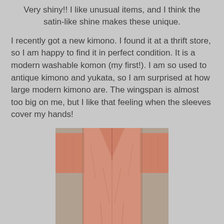Very shiny!! I like unusual items, and I think the satin-like shine makes these unique.
I recently got a new kimono. I found it at a thrift store, so I am happy to find it in perfect condition. It is a modern washable komon (my first!). I am so used to antique kimono and yukata, so I am surprised at how large modern kimono are. The wingspan is almost too big on me, but I like that feeling when the sleeves cover my hands!
[Figure (photo): A pink/salmon-colored kimono laid flat on a surface, spread out in a T-shape showing the body and sleeves from above.]